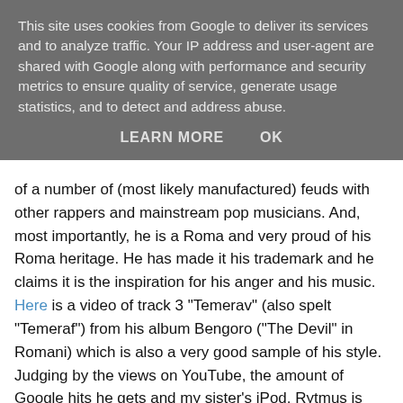This site uses cookies from Google to deliver its services and to analyze traffic. Your IP address and user-agent are shared with Google along with performance and security metrics to ensure quality of service, generate usage statistics, and to detect and address abuse.
LEARN MORE   OK
of a number of (most likely manufactured) feuds with other rappers and mainstream pop musicians. And, most importantly, he is a Roma and very proud of his Roma heritage. He has made it his trademark and he claims it is the inspiration for his anger and his music. Here is a video of track 3 "Temerav" (also spelt "Temeraf") from his album Bengoro ("The Devil" in Romani) which is also a very good sample of his style. Judging by the views on YouTube, the amount of Google hits he gets and my sister's iPod, Rytmus is quite popular among the young generation and it is thus not inconceivable that "temerav" is not the only Romani word his fans learned from him. A case in point is the second Google search hit on "mište" I quoted, which is, as the address bar of your browser immediately reveals, from a hip-